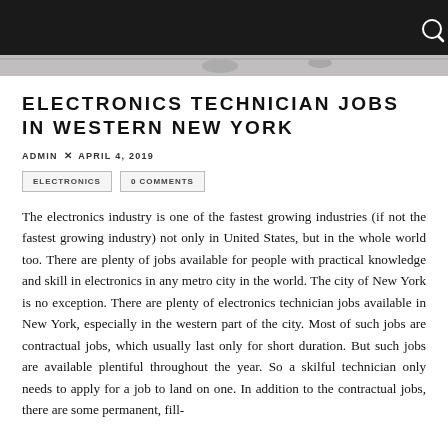[Figure (photo): Hero image at top of page showing electronics/hardware components, partially visible, with dark navigation bar overlay at the top containing a search icon.]
ELECTRONICS TECHNICIAN JOBS IN WESTERN NEW YORK
ADMIN × APRIL 4, 2019
ELECTRONICS   0 COMMENTS
The electronics industry is one of the fastest growing industries (if not the fastest growing industry) not only in United States, but in the whole world too. There are plenty of jobs available for people with practical knowledge and skill in electronics in any metro city in the world. The city of New York is no exception. There are plenty of electronics technician jobs available in New York, especially in the western part of the city. Most of such jobs are contractual jobs, which usually last only for short duration. But such jobs are available plentiful throughout the year. So a skilful technician only needs to apply for a job to land on one. In addition to the contractual jobs, there are some permanent, full-